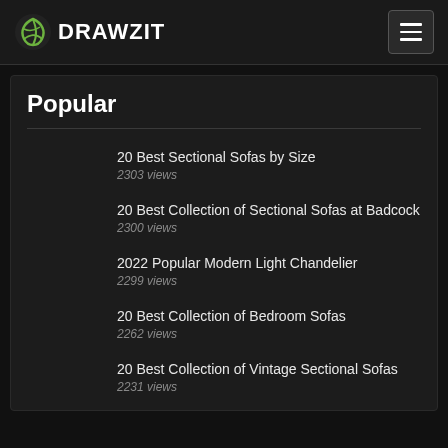DRAWZIT
Popular
20 Best Sectional Sofas by Size
2303 views
20 Best Collection of Sectional Sofas at Badcock
2300 views
2022 Popular Modern Light Chandelier
2299 views
20 Best Collection of Bedroom Sofas
2262 views
20 Best Collection of Vintage Sectional Sofas
2231 views